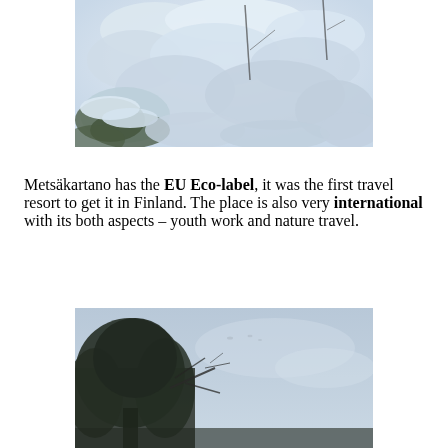[Figure (photo): Close-up photo of snow-covered tree branches and foliage, heavily laden with white snow against a pale blue-white winter sky.]
Metsäkartano has the EU Eco-label, it was the first travel resort to get it in Finland. The place is also very international with its both aspects – youth work and nature travel.
[Figure (photo): Photo of a dark pine or spruce tree silhouetted against a pale grey-blue winter sky, with bare branches visible.]